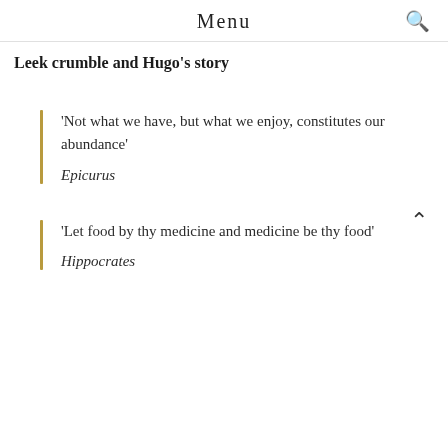Menu
Leek crumble and Hugo's story
'Not what we have, but what we enjoy, constitutes our abundance'
Epicurus
'Let food by thy medicine and medicine be thy food'
Hippocrates